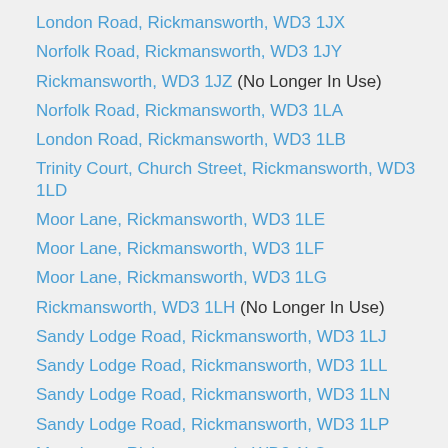London Road, Rickmansworth, WD3 1JX
Norfolk Road, Rickmansworth, WD3 1JY
Rickmansworth, WD3 1JZ (No Longer In Use)
Norfolk Road, Rickmansworth, WD3 1LA
London Road, Rickmansworth, WD3 1LB
Trinity Court, Church Street, Rickmansworth, WD3 1LD
Moor Lane, Rickmansworth, WD3 1LE
Moor Lane, Rickmansworth, WD3 1LF
Moor Lane, Rickmansworth, WD3 1LG
Rickmansworth, WD3 1LH (No Longer In Use)
Sandy Lodge Road, Rickmansworth, WD3 1LJ
Sandy Lodge Road, Rickmansworth, WD3 1LL
Sandy Lodge Road, Rickmansworth, WD3 1LN
Sandy Lodge Road, Rickmansworth, WD3 1LP
Moor Lane, Rickmansworth, WD3 1LQ